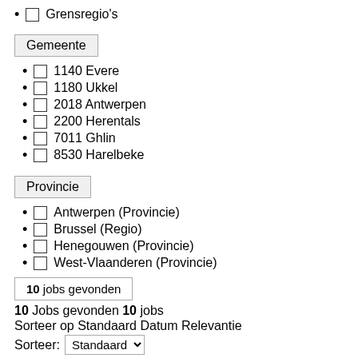Grensregio's
Gemeente
1140 Evere
1180 Ukkel
2018 Antwerpen
2200 Herentals
7011 Ghlin
8530 Harelbeke
Provincie
Antwerpen (Provincie)
Brussel (Regio)
Henegouwen (Provincie)
West-Vlaanderen (Provincie)
10 jobs gevonden
10 Jobs gevonden 10 jobs
Sorteer op Standaard Datum Relevantie
Sorteer: Standaard
Marketing & Communications Assistant (m/v/x)